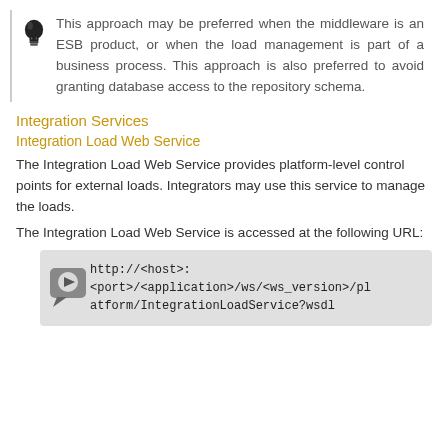This approach may be preferred when the middleware is an ESB product, or when the load management is part of a business process. This approach is also preferred to avoid granting database access to the repository schema.
Integration Services
Integration Load Web Service
The Integration Load Web Service provides platform-level control points for external loads. Integrators may use this service to manage the loads.
The Integration Load Web Service is accessed at the following URL:
[Figure (other): Code block with arrow icon showing URL: http://<host>:<port>/<application>/ws/<ws_version>/platform/IntegrationLoadService?wsdl]